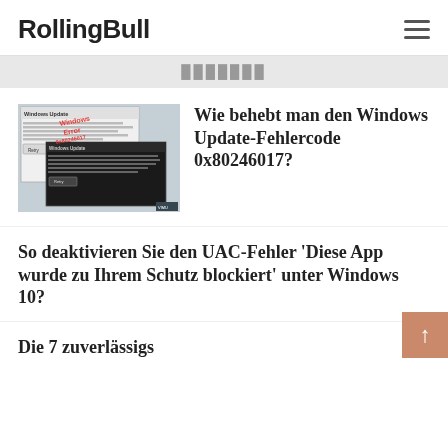RollingBull
XXXXXXX
[Figure (screenshot): Screenshot of Windows Update error dialog with error code 0x80246017, showing a dark popup overlay on a Windows Update window background, with red diagonal error text overlay.]
Wie behebt man den Windows Update-Fehlercode 0x80246017?
So deaktivieren Sie den UAC-Fehler 'Diese App wurde zu Ihrem Schutz blockiert' unter Windows 10?
Die 7 zuverlässigs